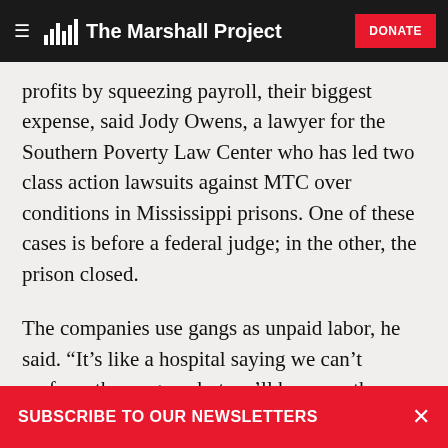The Marshall Project | DONATE
profits by squeezing payroll, their biggest expense, said Jody Owens, a lawyer for the Southern Poverty Law Center who has led two class action lawsuits against MTC over conditions in Mississippi prisons. One of these cases is before a federal judge; in the other, the prison closed.
The companies use gangs as unpaid labor, he said. “It’s like a hospital saying we can’t perform the surgery, but we’ll have another patient do it, and we’re getting paid anyway.”
SUBSCRIBE TO OUR NEWSLETTERS